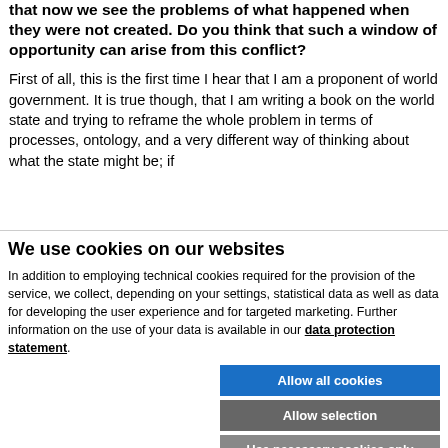that now we see the problems of what happened when they were not created. Do you think that such a window of opportunity can arise from this conflict?
First of all, this is the first time I hear that I am a proponent of world government. It is true though, that I am writing a book on the world state and trying to reframe the whole problem in terms of processes, ontology, and a very different way of thinking about what the state might be; if
We use cookies on our websites
In addition to employing technical cookies required for the provision of the service, we collect, depending on your settings, statistical data as well as data for developing the user experience and for targeted marketing. Further information on the use of your data is available in our data protection statement.
Allow all cookies
Allow selection
Use necessary cookies only
Necessary technical cookies | Functional cookies | Statistics cookies | Marketing cookies | Show details